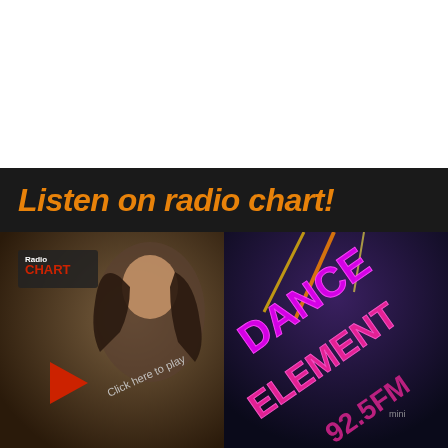Listen on radio chart!
[Figure (photo): Radio Chart promotional image with a woman with long dark hair and a red play button triangle, text 'Click here to play' on dark background]
[Figure (photo): Dance Element 92.5 FM promotional image with neon purple/pink text on dark background with concert lights]
Contact